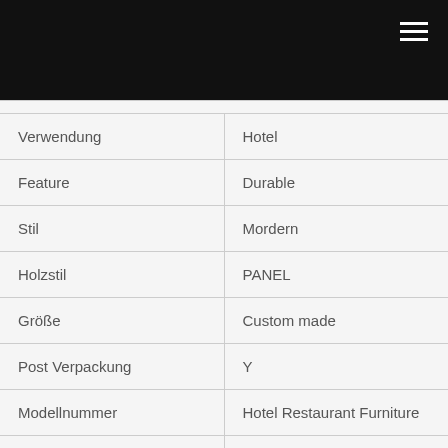| Verwendung | Hotel |
| Feature | Durable |
| Stil | Mordern |
| Holzstil | PANEL |
| Größe | Custom made |
| Post Verpackung | Y |
| Modellnummer | Hotel Restaurant Furniture |
| Markenname | Paken |
| Ursprungs Ort | Guangdong, China |